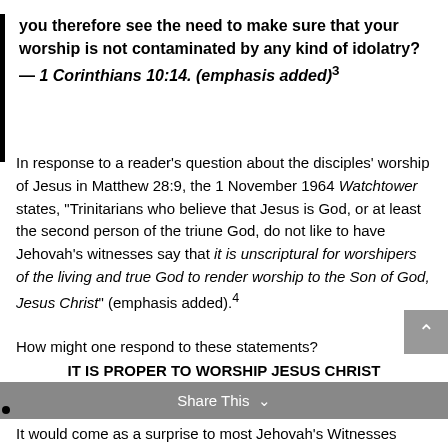you therefore see the need to make sure that your worship is not contaminated by any kind of idolatry? — 1 Corinthians 10:14. (emphasis added)³
In response to a reader's question about the disciples' worship of Jesus in Matthew 28:9, the 1 November 1964 Watchtower states, "Trinitarians who believe that Jesus is God, or at least the second person of the triune God, do not like to have Jehovah's witnesses say that it is unscriptural for worshipers of the living and true God to render worship to the Son of God, Jesus Christ" (emphasis added).⁴
How might one respond to these statements?
IT IS PROPER TO WORSHIP JESUS CHRIST
It would come as a surprise to most Jehovah's Witnesses